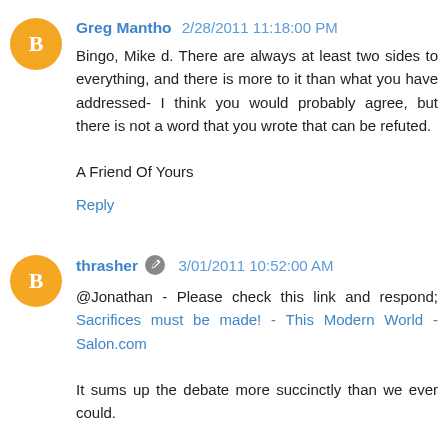Greg Mantho 2/28/2011 11:18:00 PM
Bingo, Mike d. There are always at least two sides to everything, and there is more to it than what you have addressed- I think you would probably agree, but there is not a word that you wrote that can be refuted.

A Friend Of Yours
Reply
thrasher 3/01/2011 10:52:00 AM
@Jonathan - Please check this link and respond; Sacrifices must be made! - This Modern World - Salon.com

It sums up the debate more succinctly than we ever could.

peace
Reply
Mother Nature Mad As Hell 3/01/2011 11:15:00 AM